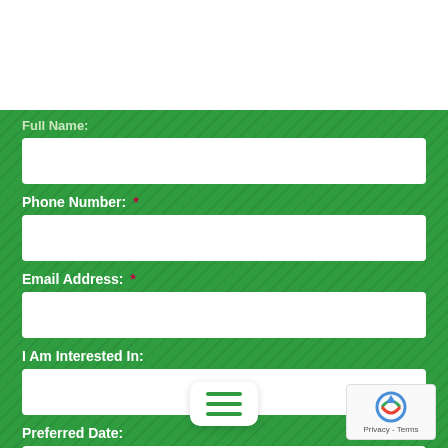[Figure (logo): EnSec Pest & Lawn logo with green house icon and purple/green text]
FREE ESTIMATE
Full Name:
[Figure (other): Empty text input box for Full Name]
Phone Number: *
[Figure (other): Empty text input box for Phone Number]
Email Address: *
[Figure (other): Empty text input box for Email Address]
I Am Interested In:
[Figure (other): Empty text input box for I Am Interested In]
Preferred Date:
[Figure (other): Date input box with placeholder mm/dd/yyyy]
Zip Code:
[Figure (other): reCAPTCHA widget bottom right]
[Figure (other): Hamburger menu overlay]